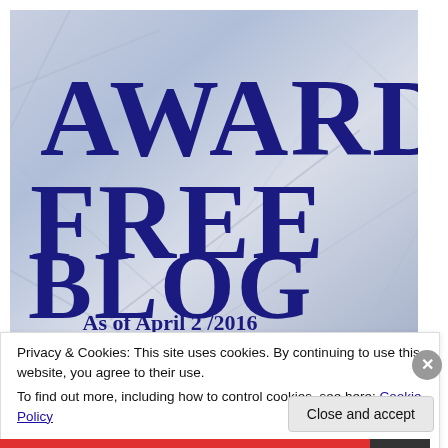[Figure (illustration): Award Free Blog badge image with large dark blue text reading 'AWARD FREE BLOG As of April 2 /2016' on a silver/blue crumpled metallic background]
Privacy & Cookies: This site uses cookies. By continuing to use this website, you agree to their use.
To find out more, including how to control cookies, see here: Cookie Policy